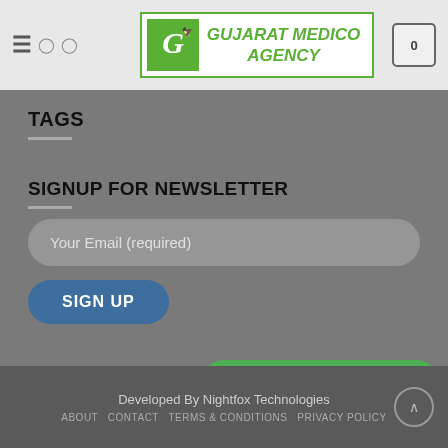[Figure (logo): Gujarat Medico Agency logo with green border, horn image and green italic text]
TAGS
SIGNUP FOR NEWSLETTER
Your Email (required)
SIGN UP
How can I help you?
Developed By Nightfox Technologies
ABOUT  CONTACT  TERMS & CONDITIONS  PRIVACY POLICY